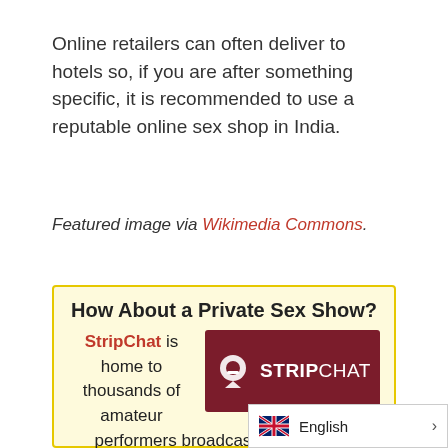Online retailers can often deliver to hotels so, if you are after something specific, it is recommended to use a reputable online sex shop in India.
Featured image via Wikimedia Commons.
How About a Private Sex Show? StripChat is home to thousands of amateur performers broadcasting LIVE and wearing very little clothes. If you want to chat 1-to-1, talk dirty, or watch a private strip show, this site is #1. Warning: It's seriously addictiv...
[Figure (logo): StripChat logo on dark red background]
English